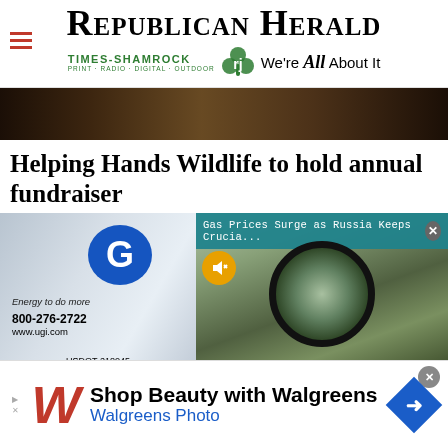REPUBLICAN HERALD
TIMES-SHAMROCK · PRINT · RADIO · DIGITAL · OUTDOOR · We're All About It
[Figure (photo): Cropped photo of a dark-furred animal (bear or similar wildlife)]
Helping Hands Wildlife to hold annual fundraiser
[Figure (photo): UGI utility van showing blue 'G' logo, 'Energy to do more', phone 800-276-2722, www.ugi.com, USDOT 218045]
[Figure (screenshot): Video overlay with teal banner reading 'Gas Prices Surge as Russia Keeps Crucia...' with close X button, muted yellow play button, and circular binoculars-view of outdoor scene]
[Figure (photo): Walgreens advertisement: 'Shop Beauty with Walgreens / Walgreens Photo' with red cursive W logo and blue navigation arrow diamond]